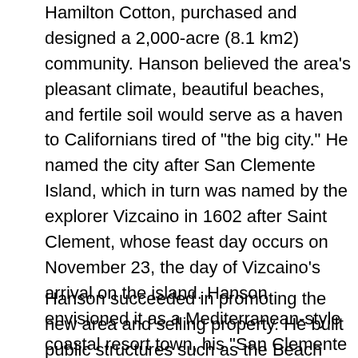Hamilton Cotton, purchased and designed a 2,000-acre (8.1 km2) community. Hanson believed the area's pleasant climate, beautiful beaches, and fertile soil would serve as a haven to Californians tired of "the big city." He named the city after San Clemente Island, which in turn was named by the explorer Vizcaino in 1602 after Saint Clement, whose feast day occurs on November 23, the day of Vizcaino's arrival on the island. Hanson envisioned it as a Mediterranean-style coastal resort town, his "San Clemente by the Sea." He had a clause added to the deeds requiring all building plans to be submitted to an architectural review board in an effort to ensure that future development would retain red tile roofs and white exteriors. But this proved to be short-lived; in the oldest parts of town you find an eclectic mix of building styles.
Hanson succeeded in promoting the new area and selling property. He built public structures such as the Beach Club, the Community Center, the pier and San Clemente Plaza,